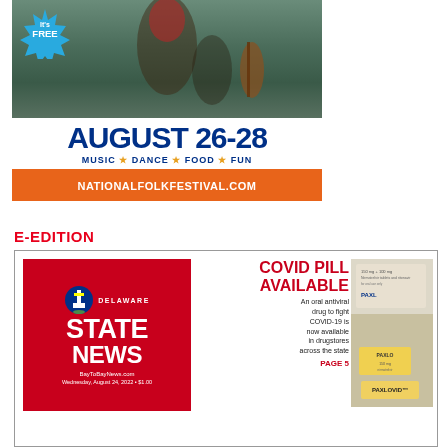[Figure (illustration): National Folk Festival advertisement banner. Shows performers (dancer, violinist) in photo at top. Blue starburst badge reads 'It's FREE'. Large text: AUGUST 26-28. Subtitle: MUSIC * DANCE * FOOD * FUN. Orange bar at bottom: NATIONALFOLKFESTIVAL.COM]
E-EDITION
[Figure (screenshot): E-Edition preview box showing Delaware State News front page. Left side: Red box with Delaware State News logo and website BayToBayNews.com, dated Wednesday, August 24, 2022 $1.00. Right side: Headline COVID PILL AVAILABLE with subtext: An oral antiviral drug to fight COVID-19 is now available in drugstores across the state PAGE 5. Photo of Paxlovid pill packaging on right.]